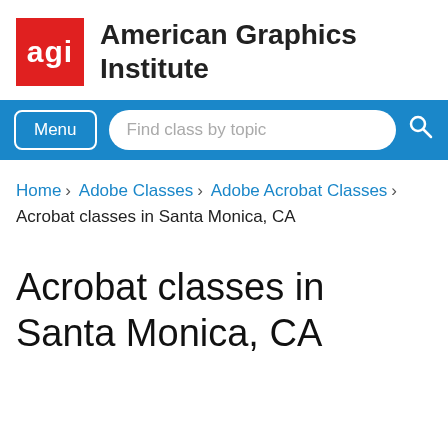[Figure (logo): American Graphics Institute logo: red square with white 'agi' text, followed by organization name 'American Graphics Institute']
Menu | Find class by topic
Home › Adobe Classes › Adobe Acrobat Classes › Acrobat classes in Santa Monica, CA
Acrobat classes in Santa Monica, CA